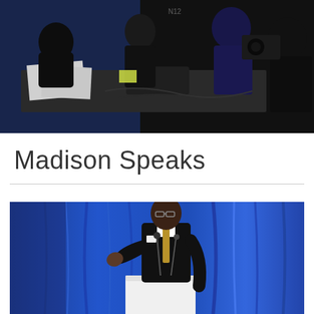[Figure (photo): Dark indoor photo of several people seated around a table with cameras, papers, and equipment. Appears to be a media or press event with people in professional attire.]
Madison Speaks
[Figure (photo): A man in a dark suit with a gold tie speaking at a white podium in front of a blue draped curtain backdrop with a microphone, gesturing with one hand.]